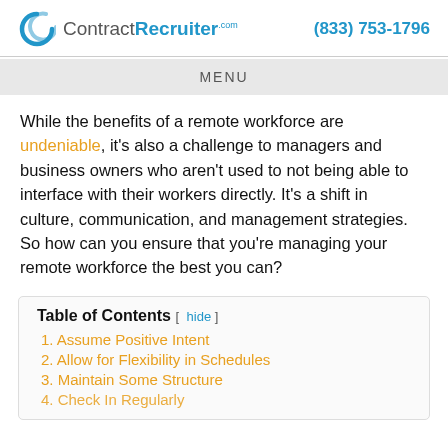ContractRecruiter.com  (833) 753-1796
MENU
While the benefits of a remote workforce are undeniable, it's also a challenge to managers and business owners who aren't used to not being able to interface with their workers directly. It's a shift in culture, communication, and management strategies. So how can you ensure that you're managing your remote workforce the best you can?
Table of Contents [ hide ]
1. Assume Positive Intent
2. Allow for Flexibility in Schedules
3. Maintain Some Structure
4. Check In Regularly